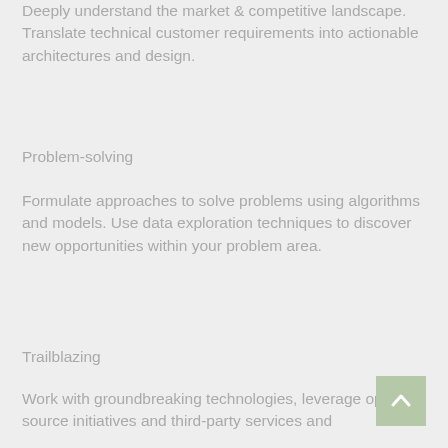Deeply understand the market & competitive landscape. Translate technical customer requirements into actionable architectures and design.
Problem-solving
Formulate approaches to solve problems using algorithms and models. Use data exploration techniques to discover new opportunities within your problem area.
Trailblazing
Work with groundbreaking technologies, leverage open-source initiatives and third-party services and